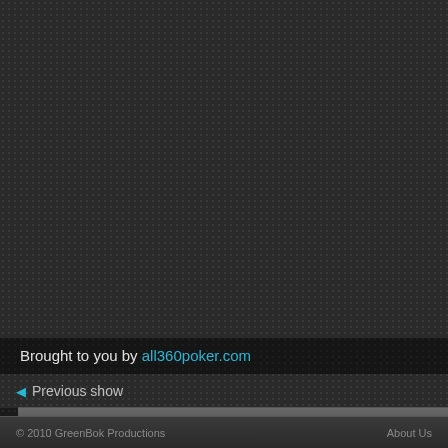Brought to you by all360poker.com
◄ Previous show
COMMENTS
No comments.
© 2010 GreenBok Productions    About Us